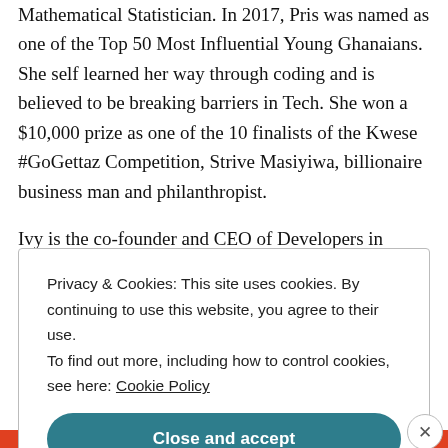Mathematical Statistician. In 2017, Pris was named as one of the Top 50 Most Influential Young Ghanaians. She self learned her way through coding and is believed to be breaking barriers in Tech. She won a $10,000 prize as one of the 10 finalists of the Kwese #GoGettaz Competition, Strive Masiyiwa, billionaire business man and philanthropist.
Ivy is the co-founder and CEO of Developers in Vogue – a social enterprise that aims at creating a relevant
Privacy & Cookies: This site uses cookies. By continuing to use this website, you agree to their use.
To find out more, including how to control cookies, see here: Cookie Policy
Close and accept